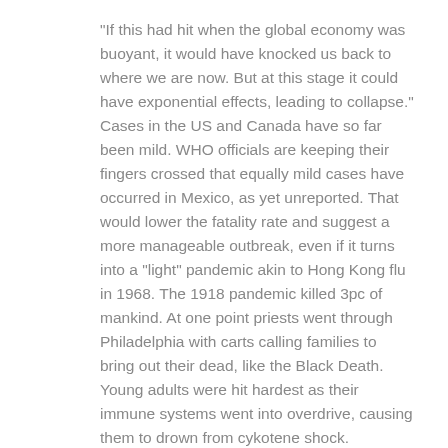"If this had hit when the global economy was buoyant, it would have knocked us back to where we are now. But at this stage it could have exponential effects, leading to collapse." Cases in the US and Canada have so far been mild. WHO officials are keeping their fingers crossed that equally mild cases have occurred in Mexico, as yet unreported. That would lower the fatality rate and suggest a more manageable outbreak, even if it turns into a "light" pandemic akin to Hong Kong flu in 1968. The 1918 pandemic killed 3pc of mankind. At one point priests went through Philadelphia with carts calling families to bring out their dead, like the Black Death. Young adults were hit hardest as their immune systems went into overdrive, causing them to drown from cykotene shock.
Ominously, the same age group seems to suffering worst in Mexico. Even so, there is little risk of deaths on the same scale. The authorities